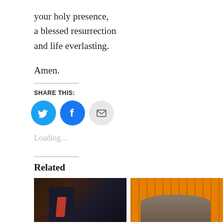your holy presence,
a blessed resurrection
and life everlasting.
Amen.
Share this:
[Figure (infographic): Three social share buttons: Twitter (blue circle with bird icon), Facebook (blue circle with f icon), Email (grey circle with envelope icon)]
Loading...
Related
[Figure (photo): Person in dark clothing with red tie, dark background scene]
[Figure (photo): Two people from behind looking at a yellow departure/arrivals board]